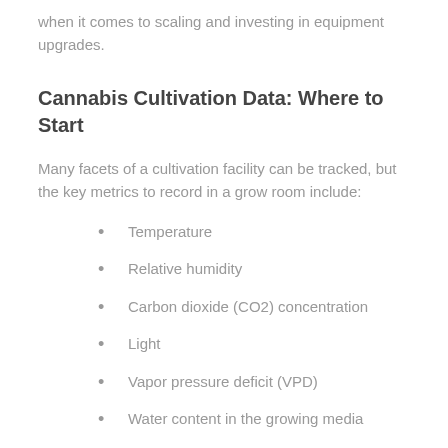when it comes to scaling and investing in equipment upgrades.
Cannabis Cultivation Data: Where to Start
Many facets of a cultivation facility can be tracked, but the key metrics to record in a grow room include:
Temperature
Relative humidity
Carbon dioxide (CO2) concentration
Light
Vapor pressure deficit (VPD)
Water content in the growing media